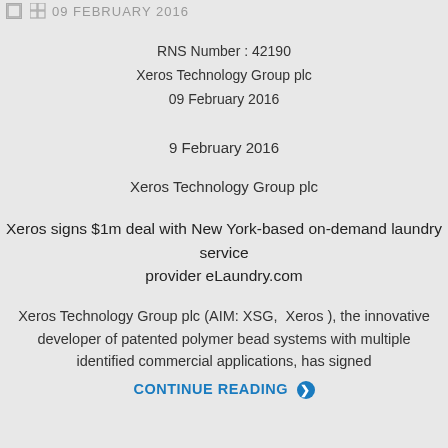09 FEBRUARY 2016
RNS Number : 42190
Xeros Technology Group plc
09 February 2016
9 February 2016
Xeros Technology Group plc
Xeros signs $1m deal with New York-based on-demand laundry service provider eLaundry.com
Xeros Technology Group plc (AIM: XSG,  Xeros ), the innovative developer of patented polymer bead systems with multiple identified commercial applications, has signed
CONTINUE READING ❯